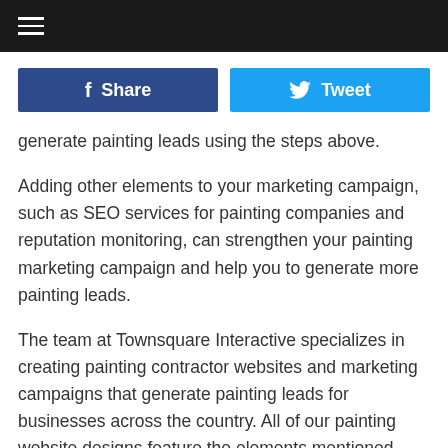≡ (hamburger menu)
[Figure (other): Facebook Share button and Twitter Tweet button side by side]
generate painting leads using the steps above.
Adding other elements to your marketing campaign, such as SEO services for painting companies and reputation monitoring, can strengthen your painting marketing campaign and help you to generate more painting leads.
The team at Townsquare Interactive specializes in creating painting contractor websites and marketing campaigns that generate painting leads for businesses across the country. All of our painting website designs feature the elements mentioned above, and our dedicated marketing specialists and teams of experts can provide personalized suggestions